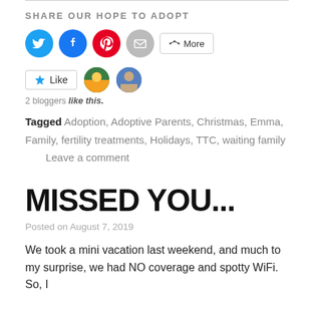SHARE OUR HOPE TO ADOPT
[Figure (infographic): Social sharing buttons: Twitter (blue circle), Facebook (blue circle), Pinterest (red circle), Email (gray circle), and a More button with share icon]
[Figure (infographic): Like button with star icon and two small circular avatar thumbnails of bloggers]
2 bloggers like this.
Tagged Adoption, Adoptive Parents, Christmas, Emma, Family, fertility treatments, Holidays, TTC, waiting family     Leave a comment
MISSED YOU...
Posted on August 7, 2019
We took a mini vacation last weekend, and much to my surprise, we had NO coverage and spotty WiFi. So, I